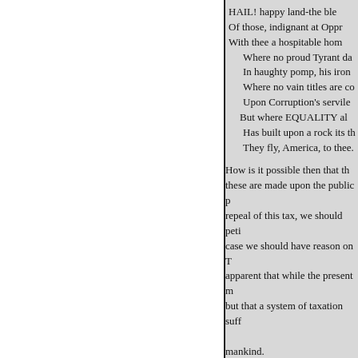HAIL! happy land-the ble
Of those, indignant at Oppr
With thee a hospitable hom
    Where no proud Tyrant da
    In haughty pomp, his iron
    Where no vain titles are co
    Upon Corruption's servile
     But where EQUALITY al
    Has built upon a rock its th
    They fly, America, to thee.
How is it possible then that th these are made upon the public p repeal of this tax, we should peti case we should have reason on T apparent that while the present m but that a system of taxation suff mankind.
AMERICA.
SIR,-The acquaintance I consi Register, and feeling confident w